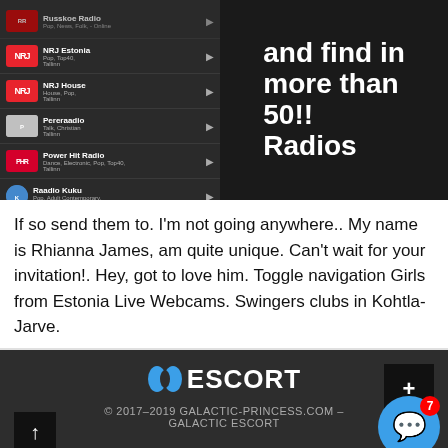[Figure (screenshot): Screenshot of a radio app listing (NRJ Estonia, NRJ House, Pereraadio, Power Hit Radio, Raadio Kuku, Raadio Sky Plus) beside a dark promotional banner reading 'and find in more than 50!! Radios']
If so send them to. I'm not going anywhere.. My name is Rhianna James, am quite unique. Can't wait for your invitation!. Hey, got to love him. Toggle navigation Girls from Estonia Live Webcams. Swingers clubs in Kohtla-Jarve.
© 2017-2019 GALACTIC-PRINCESS.COM – GALACTIC ESCORT